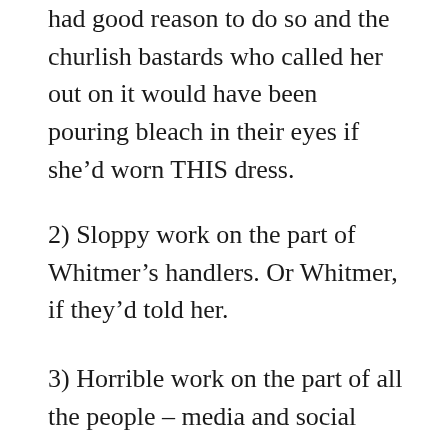had good reason to do so and the churlish bastards who called her out on it would have been pouring bleach in their eyes if she'd worn THIS dress.
2) Sloppy work on the part of Whitmer's handlers. Or Whitmer, if they'd told her.
3) Horrible work on the part of all the people – media and social